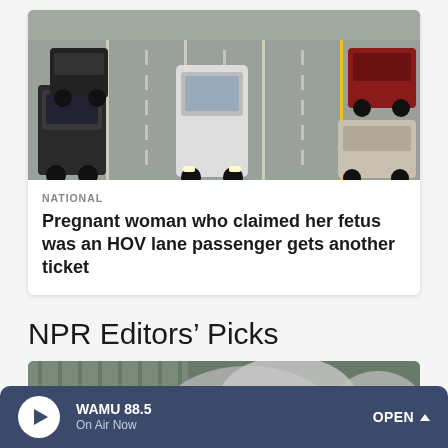[Figure (photo): Aerial/rear view of multiple lanes of highway traffic with cars and SUVs moving in the same direction on a sunlit road.]
NATIONAL
Pregnant woman who claimed her fetus was an HOV lane passenger gets another ticket
NPR Editors' Picks
[Figure (photo): Photo showing smoke and fire/explosion with yellow-orange flames against a grey metal structure background.]
WAMU 88.5
On Air Now
OPEN ^